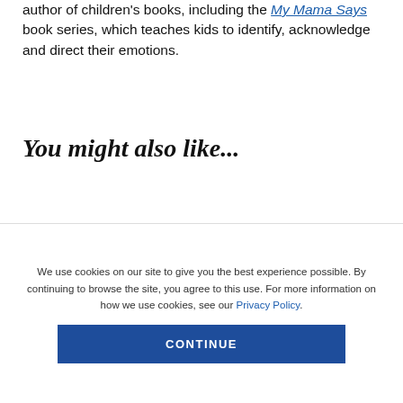author of children's books, including the My Mama Says book series, which teaches kids to identify, acknowledge and direct their emotions.
You might also like...
[Figure (other): Blue rectangular banner/bar element, partially visible at bottom of content area]
We use cookies on our site to give you the best experience possible. By continuing to browse the site, you agree to this use. For more information on how we use cookies, see our Privacy Policy.
CONTINUE